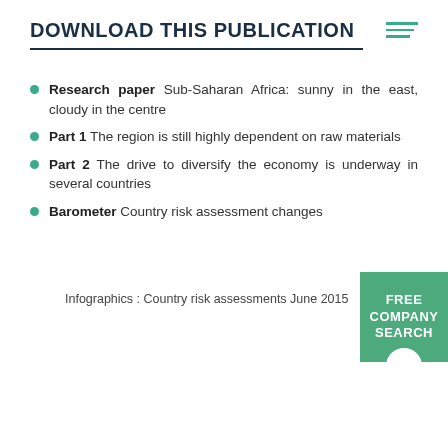DOWNLOAD THIS PUBLICATION
Research paper Sub-Saharan Africa: sunny in the east, cloudy in the centre
Part 1 The region is still highly dependent on raw materials
Part 2 The drive to diversify the economy is underway in several countries
Barometer Country risk assessment changes
Infographics : Country risk assessments June 2015
FREE COMPANY SEARCH